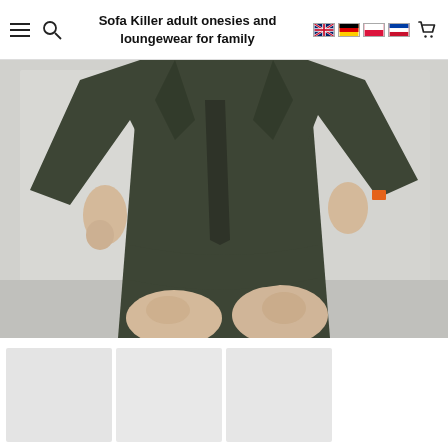Sofa Killer adult onesies and loungewear for family
[Figure (photo): Person wearing an olive/dark green linen robe or loungewear, shown from chest to knees against a white/grey wall background. A small orange brand label is visible on the cuff.]
[Figure (photo): Thumbnail product images row at bottom of page, showing light grey/white product photos]